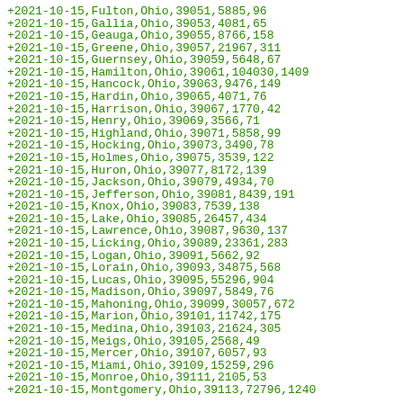+2021-10-15,Fulton,Ohio,39051,5885,96
+2021-10-15,Gallia,Ohio,39053,4081,65
+2021-10-15,Geauga,Ohio,39055,8766,158
+2021-10-15,Greene,Ohio,39057,21967,311
+2021-10-15,Guernsey,Ohio,39059,5648,67
+2021-10-15,Hamilton,Ohio,39061,104030,1409
+2021-10-15,Hancock,Ohio,39063,9476,149
+2021-10-15,Hardin,Ohio,39065,4071,76
+2021-10-15,Harrison,Ohio,39067,1770,42
+2021-10-15,Henry,Ohio,39069,3566,71
+2021-10-15,Highland,Ohio,39071,5858,99
+2021-10-15,Hocking,Ohio,39073,3490,78
+2021-10-15,Holmes,Ohio,39075,3539,122
+2021-10-15,Huron,Ohio,39077,8172,139
+2021-10-15,Jackson,Ohio,39079,4934,70
+2021-10-15,Jefferson,Ohio,39081,8439,191
+2021-10-15,Knox,Ohio,39083,7539,138
+2021-10-15,Lake,Ohio,39085,26457,434
+2021-10-15,Lawrence,Ohio,39087,9630,137
+2021-10-15,Licking,Ohio,39089,23361,283
+2021-10-15,Logan,Ohio,39091,5662,92
+2021-10-15,Lorain,Ohio,39093,34875,568
+2021-10-15,Lucas,Ohio,39095,55296,904
+2021-10-15,Madison,Ohio,39097,5849,76
+2021-10-15,Mahoning,Ohio,39099,30057,672
+2021-10-15,Marion,Ohio,39101,11742,175
+2021-10-15,Medina,Ohio,39103,21624,305
+2021-10-15,Meigs,Ohio,39105,2568,49
+2021-10-15,Mercer,Ohio,39107,6057,93
+2021-10-15,Miami,Ohio,39109,15259,296
+2021-10-15,Monroe,Ohio,39111,2105,53
+2021-10-15,Montgomery,Ohio,39113,72796,1240